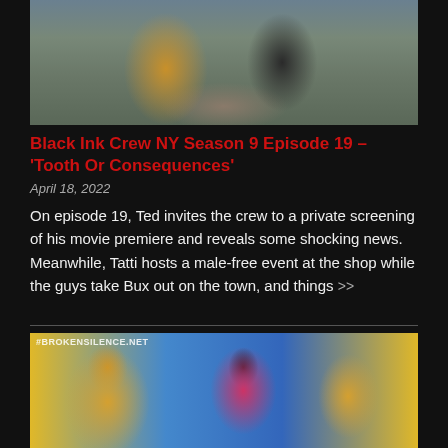[Figure (photo): Photo of two people standing together, one in an orange/brown outfit with a Hermes belt, the other in a dark suit, taken indoors]
Black Ink Crew NY Season 9 Episode 19 – 'Tooth Or Consequences'
April 18, 2022
On episode 19, Ted invites the crew to a private screening of his movie premiere and reveals some shocking news. Meanwhile, Tatti hosts a male-free event at the shop while the guys take Bux out on the town, and things >>
[Figure (photo): Photo showing two people embracing at what appears to be an art gallery with colorful paintings on the wall. Watermark reads #BROKENSILENCE.NET]